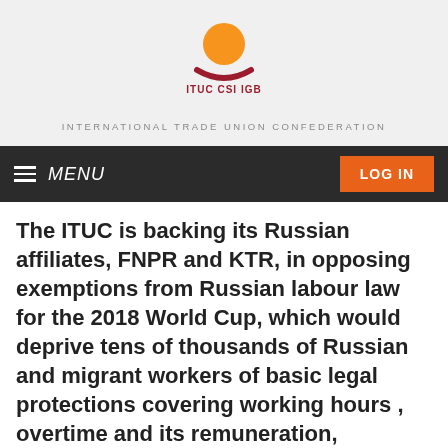[Figure (logo): ITUC CSI IGB logo — orange circle above a dark red arc/swoosh, with text 'ITUC CSI IGB' below in dark red]
INTERNATIONAL TRADE UNION CONFEDERATION
MENU   LOG IN
The ITUC is backing its Russian affiliates, FNPR and KTR, in opposing exemptions from Russian labour law for the 2018 World Cup, which would deprive tens of thousands of Russian and migrant workers of basic legal protections covering working hours , overtime and its remuneration, weekend and night work and a range of other standards.
09-10-2013
Health & safety
Human and trade union rights